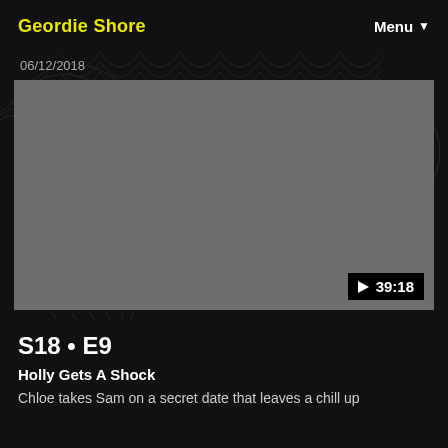Geordie Shore
06/12/2018
[Figure (screenshot): Video thumbnail placeholder - grey rectangle with play button and duration 39:18 in bottom right corner]
S18 • E9
Holly Gets A Shock
Chloe takes Sam on a secret date that leaves a chill up